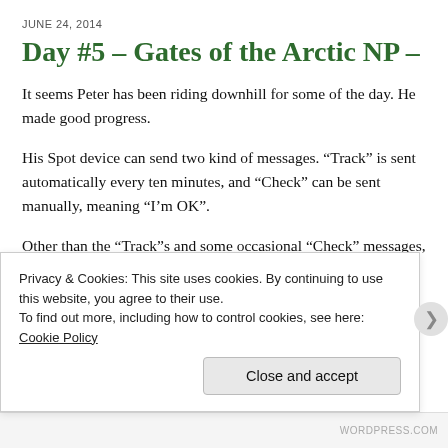JUNE 24, 2014
Day #5 – Gates of the Arctic NP – 55 mi
It seems Peter has been riding downhill for some of the day. He made good progress.
His Spot device can send two kind of messages. “Track” is sent automatically every ten minutes, and “Check” can be sent manually, meaning “I’m OK”.
Other than the “Track”s and some occasional “Check” messages, we have no way to hear from Peter at that remote area. We can still post a picture of the area that surrounds him. You can tell
Privacy & Cookies: This site uses cookies. By continuing to use this website, you agree to their use.
To find out more, including how to control cookies, see here: Cookie Policy
Close and accept